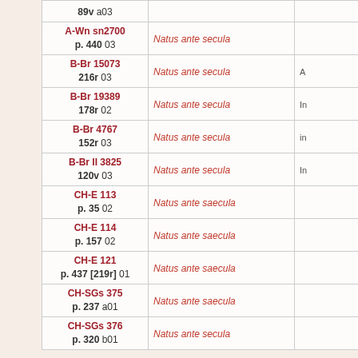| Source | Chant | Column 3 |
| --- | --- | --- |
| 89v a03 |  |  |
| A-Wn sn2700
p. 440 03 | Natus ante secula |  |
| B-Br 15073
216r 03 | Natus ante secula | A |
| B-Br 19389
178r 02 | Natus ante secula | In |
| B-Br 4767
152r 03 | Natus ante secula | in |
| B-Br II 3825
120v 03 | Natus ante secula | In |
| CH-E 113
p. 35 02 | Natus ante saecula |  |
| CH-E 114
p. 157 02 | Natus ante saecula |  |
| CH-E 121
p. 437 [219r] 01 | Natus ante saecula |  |
| CH-SGs 375
p. 237 a01 | Natus ante saecula |  |
| CH-SGs 376
p. 320 b01 | Natus ante secula |  |